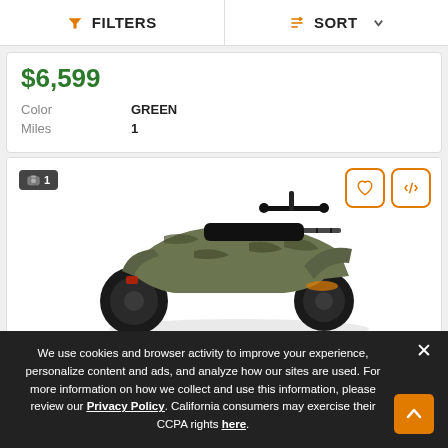FILTERS  SORT
$6,599
| Color | GREEN |
| Miles | 1 |
[Figure (photo): ATV (all-terrain vehicle) in camouflage/camo color pattern, side/rear view, shown on a white background. Badge showing '1' photo count in top-left. Favorite and compare buttons in top-right.]
We use cookies and browser activity to improve your experience, personalize content and ads, and analyze how our sites are used. For more information on how we collect and use this information, please review our Privacy Policy. California consumers may exercise their CCPA rights here.